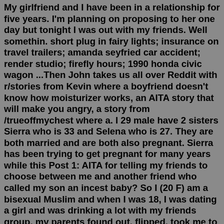My girlfriend and I have been in a relationship for five years. I'm planning on proposing to her one day but tonight I was out with my friends. Well somethin. short plug in fairy lights; insurance on travel trailers; amanda seyfried car accident; render studio; firefly hours; 1990 honda civic wagon ...Then John takes us all over Reddit with r/stories from Kevin where a boyfriend doesn't know how moisturizer works, an AITA story that will make you angry, a story from /trueoffmychest where a. I 29 male have 2 sisters Sierra who is 33 and Selena who is 27. They are both married and are both also pregnant. Sierra has been trying to get pregnant for many years while this Post 1: AITA for telling my friends to choose between me and another friend who called my son an incest baby? So I (20 F) am a bisexual Muslim and when I was 18, I was dating a girl and was drinking a lot with my friends group, my parents found out, flipped, took me to Pakistan and got me married to my cousin. People that truly care about a child offer to be the best auntie or grandma ect. they can be. Diane's family was so